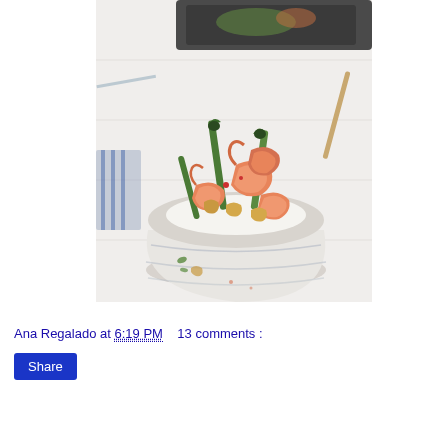[Figure (photo): A white ceramic bowl filled with shrimp stir-fry with asparagus and cashews over rice, on a white wooden table. A dark pan with similar food is visible blurred in the background.]
Ana Regalado at 6:19 PM    13 comments :
Share